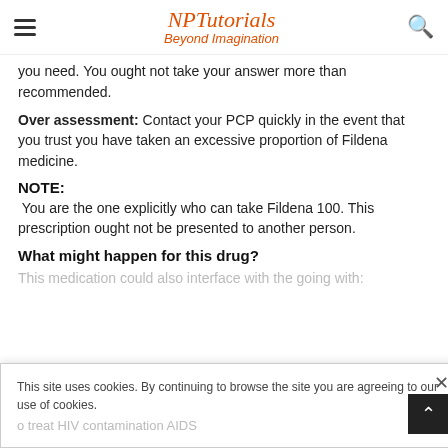NP Tutorials Beyond Imagination
you need. You ought not take your answer more than recommended.
Over assessment: Contact your PCP quickly in the event that you trust you have taken an excessive proportion of Fildena medicine.
NOTE:
You are the one explicitly who can take Fildena 100. This prescription ought not be presented to another person.
What might happen for this drug?
This medication could also interface with the going with:
This site uses cookies. By continuing to browse the site you are agreeing to our use of cookies.